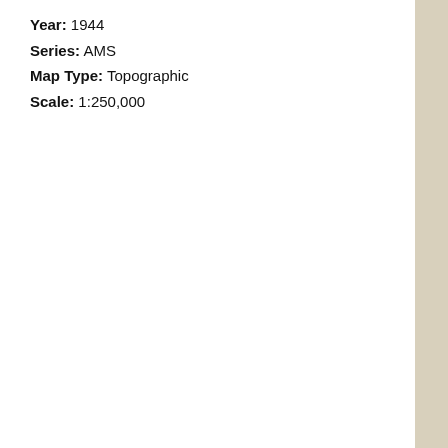Year: 1944
Series: AMS
Map Type: Topographic
Scale: 1:250,000